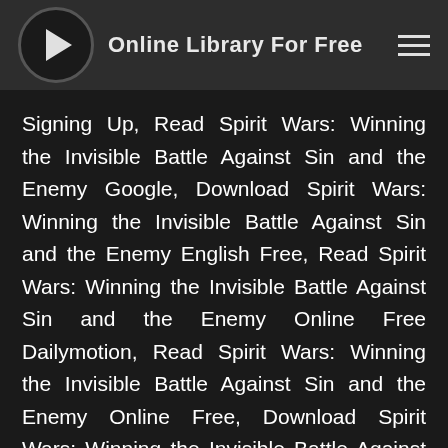Online Library For Free
Signing Up, Read Spirit Wars: Winning the Invisible Battle Against Sin and the Enemy Google, Download Spirit Wars: Winning the Invisible Battle Against Sin and the Enemy English Free, Read Spirit Wars: Winning the Invisible Battle Against Sin and the Enemy Online Free Dailymotion, Read Spirit Wars: Winning the Invisible Battle Against Sin and the Enemy Online Free, Download Spirit Wars: Winning the Invisible Battle Against Sin and the Enemy Full, Read Spirit Wars: Winning the Invisible Battle Against Sin and the Enemy Online Dailymotion, Download Spirit Wars: Winning the Invisible Battle Against Sin and the Enemy Free Online, Read Spirit Wars: Winning the Invisible Battle Against Sin and the Enemy Online Best Quality, Read Spirit Wars: Winning the Invisible Battle Against Sin and the Enemy Online Best Quality, Read Spirit Wars: Winning the Invisible Battle Against Sin and the the Enemy Free Good Quality, Read Spirit Wars: Winning the Invisible Battle Against Sin and the